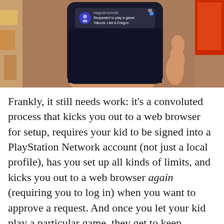[Figure (photo): A hand holding a smartphone displaying a PlayStation Network notification from user 'magical-echo68' that reads 'Requested to play a game: Yakuza: Like A Dragon'. The phone screen is dark/navy. Background appears to be a retail store environment.]
Frankly, it still needs work: it's a convoluted process that kicks you out to a web browser for setup, requires your kid to be signed into a PlayStation Network account (not just a local profile), has you set up all kinds of limits, and kicks you out to a web browser again (requiring you to log in) when you want to approve a request. And once you let your kid play a particular game, they get to keep playing